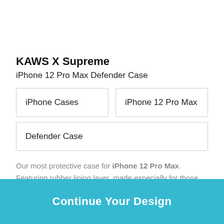KAWS X Supreme
iPhone 12 Pro Max Defender Case
| iPhone Cases | iPhone 12 Pro Max |
| Defender Case |  |
Our most protective case for iPhone 12 Pro Max. Featuring rubber lining layer, made especially for those always on the go.
Continue Your Design